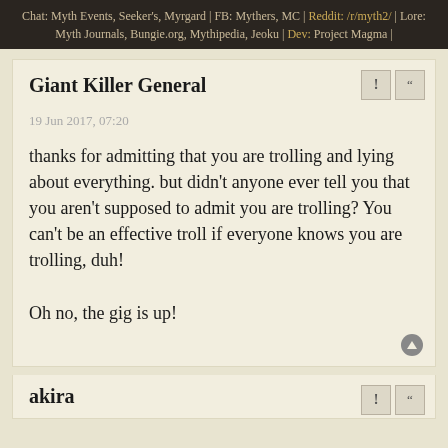Chat: Myth Events, Seeker's, Myrgard | FB: Mythers, MC | Reddit: /r/myth2/ | Lore: Myth Journals, Bungie.org, Mythipedia, Jeoku | Dev: Project Magma |
Giant Killer General
19 Jun 2017, 07:20
thanks for admitting that you are trolling and lying about everything. but didn't anyone ever tell you that you aren't supposed to admit you are trolling? You can't be an effective troll if everyone knows you are trolling, duh!

Oh no, the gig is up!
akira